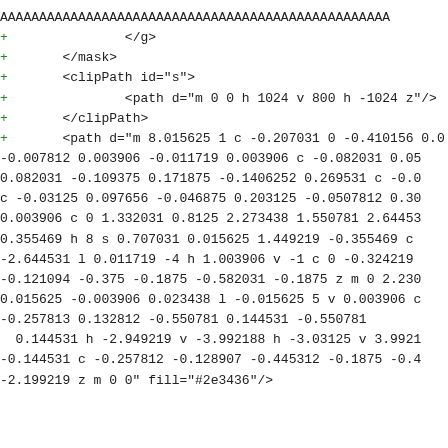AAAAAAAAAAAAAAAAAAAAAAAAAAAAAAAAAAAAAAAAAAAAAAAAAA
+               </g>
+       </mask>
+       <clipPath id="s">
+               <path d="m 0 0 h 1024 v 800 h -1024 z"/>
+       </clipPath>
+       <path d="m 8.015625 1 c -0.207031 0 -0.410156 0.0
-0.007812 0.003906 -0.011719 0.003906 c -0.082031 0.05
0.082031 -0.109375 0.171875 -0.1406252 0.269531 c -0.0
c -0.03125 0.097656 -0.046875 0.203125 -0.0507812 0.30
0.003906 c 0 1.332031 0.8125 2.273438 1.550781 2.64453
0.355469 h 8 s 0.707031 0.015625 1.449219 -0.355469 c
-2.644531 l 0.011719 -4 h 1.003906 v -1 c 0 -0.324219
-0.121094 -0.375 -0.1875 -0.582031 -0.1875 z m 0 2.230
0.015625 -0.003906 0.023438 l -0.015625 5 v 0.003906 c
-0.257813 0.132812 -0.550781 0.144531 -0.550781
  0.144531 h -2.949219 v -3.992188 h -3.03125 v 3.9921
-0.144531 c -0.257812 -0.128907 -0.445312 -0.1875 -0.4
-2.199219 z m 0 0" fill="#2e3436"/>